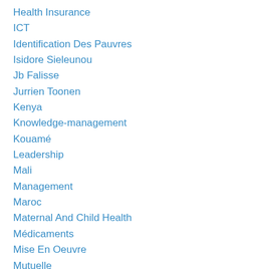Health Insurance
ICT
Identification Des Pauvres
Isidore Sieleunou
Jb Falisse
Jurrien Toonen
Kenya
Knowledge-management
Kouamé
Leadership
Mali
Management
Maroc
Maternal And Child Health
Médicaments
Mise En Oeuvre
Mutuelle
National Health Accounts
Ngo
Niger
Ond…